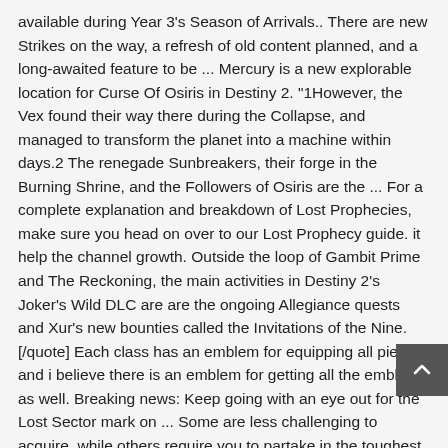available during Year 3's Season of Arrivals.. There are new Strikes on the way, a refresh of old content planned, and a long-awaited feature to be ... Mercury is a new explorable location for Curse Of Osiris in Destiny 2. "1However, the Vex found their way there during the Collapse, and managed to transform the planet into a machine within days.2 The renegade Sunbreakers, their forge in the Burning Shrine, and the Followers of Osiris are the ... For a complete explanation and breakdown of Lost Prophecies, make sure you head on over to our Lost Prophecy guide. it help the channel growth. Outside the loop of Gambit Prime and The Reckoning, the main activities in Destiny 2's Joker's Wild DLC are are the ongoing Allegiance quests and Xur's new bounties called the Invitations of the Nine. [/quote] Each class has an emblem for equipping all pieces and i believe there is an emblem for getting all the emblems as well. Breaking news: Keep going with an eye out for the Lost Sector mark on ... Some are less challenging to acquire, while others require you to partake in the toughest encounters Destiny 2 has to offer. New content has been rolled out for "Destiny 2's" Season of Opulence with the next chapter in the The next Word story line...